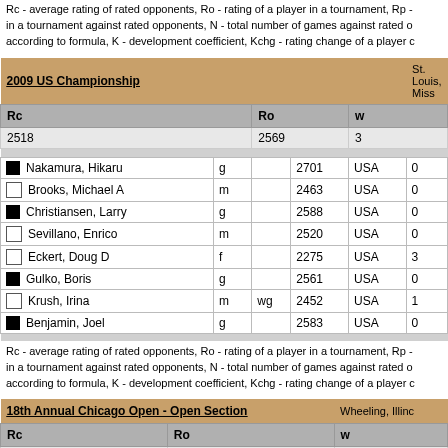Rc - average rating of rated opponents, Ro - rating of a player in a tournament, Rp - in a tournament against rated opponents, N - total number of games against rated o according to formula, K - development coefficient, Kchg - rating change of a player c
| 2009 US Championship | St. Louis, Miss | Rc | Ro | w |
| --- | --- | --- | --- | --- |
| 2518 | 2569 | 3 |
| Nakamura, Hikaru | g |  | 2701 | USA | 0 |
| Brooks, Michael A | m |  | 2463 | USA | 0 |
| Christiansen, Larry | g |  | 2588 | USA | 0 |
| Sevillano, Enrico | m |  | 2520 | USA | 0 |
| Eckert, Doug D | f |  | 2275 | USA | 3 |
| Gulko, Boris | g |  | 2561 | USA | 0 |
| Krush, Irina | m | wg | 2452 | USA | 1 |
| Benjamin, Joel | g |  | 2583 | USA | 0 |
Rc - average rating of rated opponents, Ro - rating of a player in a tournament, Rp - in a tournament against rated opponents, N - total number of games against rated o according to formula, K - development coefficient, Kchg - rating change of a player c
| 18th Annual Chicago Open - Open Section | Wheeling, Illinc | Rc | Ro | w |
| --- | --- | --- | --- | --- |
| 2457 | 2569 | 5 |